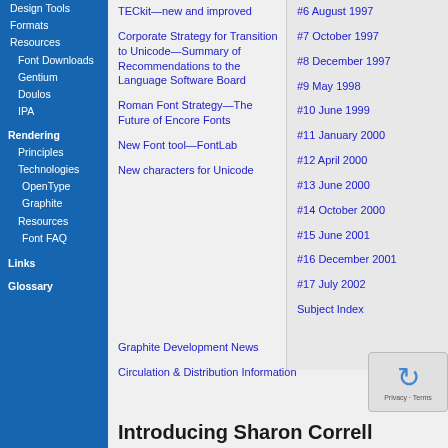Design Tools
Formats
Resources
Font Downloads
Gentium
Doulos
IPA
Rendering
Principles
Technologies
OpenType
Graphite
Resources
Font FAQ
Links
Glossary
TECkit—new and improved
Corporate Strategy for Transition to Unicode—Summary of Recommendations to the Language Software Board
Roman Font Strategy—The Future of Encore Fonts
New Font tool—FontLab
New characters for Unicode
Graphite Development News
Circulation & Distribution Information
#6 August 1997
#7 October 1997
#8 December 1997
#9 May 1998
#10 June 1999
#11 January 2000
#12 April 2000
#13 June 2000
#14 October 2000
#15 June 2001
#16 December 2001
#17 July 2002
Subject Index
Introducing Sharon Correll